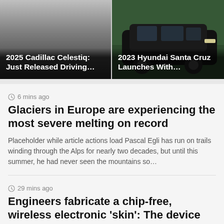[Figure (photo): Two side-by-side article cards with vehicle imagery. Left card: dark gradient background resembling a car, titled '2025 Cadillac Celestiq: Just Released Driving...'. Right card: black Hyundai SUV truck photo, titled '2023 Hyundai Santa Cruz Launches With...'.]
6 mins ago
Glaciers in Europe are experiencing the most severe melting on record
Placeholder while article actions load Pascal Egli has run on trails winding through the Alps for nearly two decades, but until this summer, he had never seen the mountains so…
29 mins ago
Engineers fabricate a chip-free, wireless electronic 'skin': The device senses and